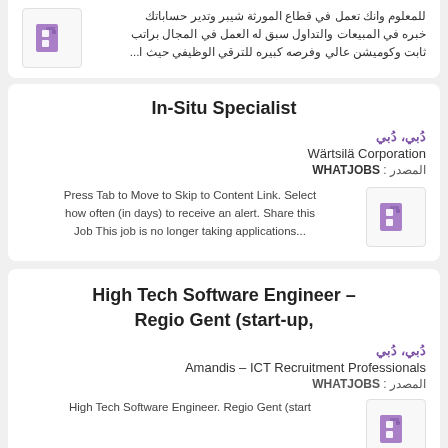للمعلوم وانك تعمل في قطاع المورثة شيبر وتدير حساباتك خبره في المبيعات والتداول سبق له العمل في المجال براتب ثابت وكوميشن عالي وفرصه كبيره للترقي الوظيفي حيث ا...
In-Situ Specialist
دُبي، دُبي
Wärtsilä Corporation
المصدر : WHATJOBS
Press Tab to Move to Skip to Content Link. Select how often (in days) to receive an alert. Share this Job This job is no longer taking applications...
High Tech Software Engineer – Regio Gent (start-up,
دُبي، دُبي
Amandis – ICT Recruitment Professionals
المصدر : WHATJOBS
High Tech Software Engineer. Regio Gent (start